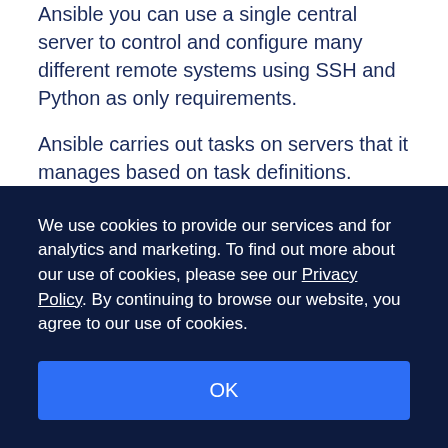Ansible you can use a single central server to control and configure many different remote systems using SSH and Python as only requirements.
Ansible carries out tasks on servers that it manages based on task definitions. These tasks invoke built-in and community maintained Ansible modules using small snippets of YAML for each task.
We use cookies to provide our services and for analytics and marketing. To find out more about our use of cookies, please see our Privacy Policy. By continuing to browse our website, you agree to our use of cookies.
OK